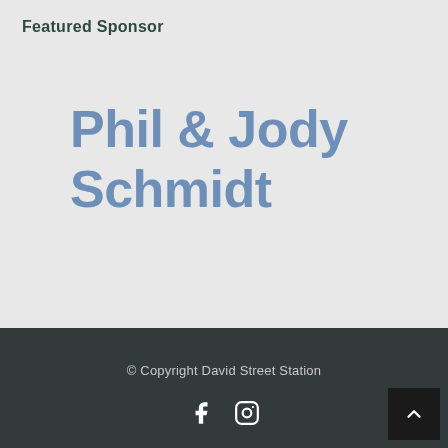Featured Sponsor
Phil & Jody Schmidt
© Copyright David Street Station
[Figure (other): Social media icons: Facebook and Instagram]
[Figure (other): Back to top button with upward arrow]